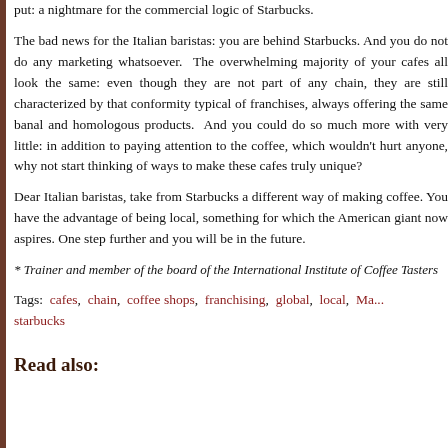put: a nightmare for the commercial logic of Starbucks.
The bad news for the Italian baristas: you are behind Starbucks. And you do not do any marketing whatsoever.  The overwhelming majority of your cafes all look the same: even though they are not part of any chain, they are still characterized by that conformity typical of franchises, always offering the same banal and homologous products.  And you could do so much more with very little: in addition to paying attention to the coffee, which wouldn't hurt anyone, why not start thinking of ways to make these cafes truly unique?
Dear Italian baristas, take from Starbucks a different way of making coffee. You have the advantage of being local, something for which the American giant now aspires. One step further and you will be in the future.
* Trainer and member of the board of the International Institute of Coffee Tasters
Tags:  cafes,  chain,  coffee shops,  franchising,  global,  local,  Ma... starbucks
Read also: